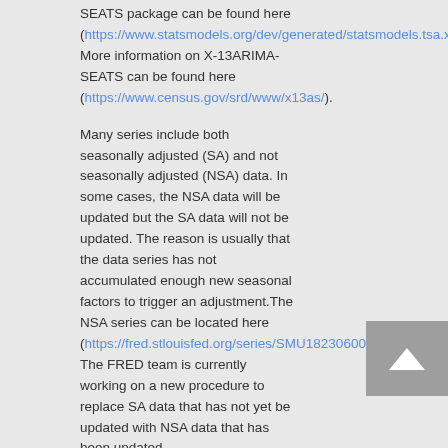SEATS package can be found here (https://www.statsmodels.org/dev/generated/statsmodels.tsa.x13.x13_arima_analysis.html). More information on X-13ARIMA-SEATS can be found here (https://www.census.gov/srd/www/x13as/).
Many series include both seasonally adjusted (SA) and not seasonally adjusted (NSA) data. In some cases, the NSA data will be updated but the SA data will not be updated. The reason is usually that the data series has not accumulated enough new seasonal factors to trigger an adjustment.The NSA series can be located here (https://fred.stlouisfed.org/series/SMU18230600500000002) The FRED team is currently working on a new procedure to replace SA data that has not yet be updated with NSA data that has been updated.
Some seasonally adjusted series may exhibit negative values because they are created from a seasonal adjustment process regardless of the actual meaning or interpretation of the given indicator.